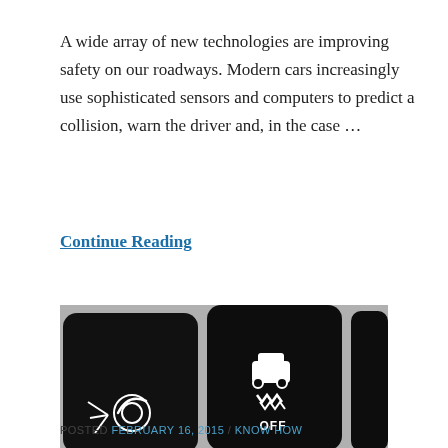A wide array of new technologies are improving safety on our roadways. Modern cars increasingly use sophisticated sensors and computers to predict a collision, warn the driver and, in the case …
Continue Reading
[Figure (photo): Close-up photograph of two dark car dashboard buttons: left button shows a windshield wiper/sensor icon, center button shows a car with skid marks and 'OFF' text (traction control off button).]
POSTED FEBRUARY 16, 2015 / KNOW HOW